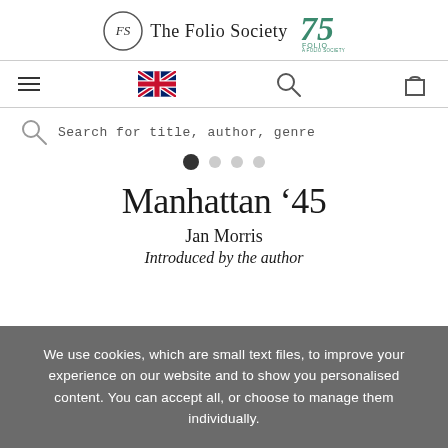[Figure (logo): The Folio Society logo with circular FS monogram and '75 FOLIO' anniversary mark]
[Figure (infographic): Navigation bar with hamburger menu, UK flag, search icon, and shopping bag icon]
[Figure (infographic): Search bar with magnifying glass icon and placeholder text 'Search for title, author, genre', with carousel dots below]
Manhattan '45
Jan Morris
Introduced by the author
We use cookies, which are small text files, to improve your experience on our website and to show you personalised content. You can accept all, or choose to manage them individually.